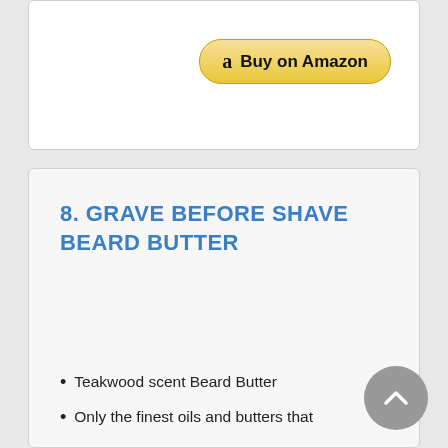[Figure (other): Top product card with Buy on Amazon button]
8. GRAVE BEFORE SHAVE BEARD BUTTER
Teakwood scent Beard Butter
Only the finest oils and butters that